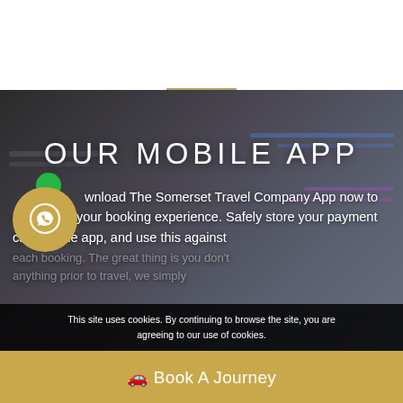[Figure (photo): Top white section with a thin gold horizontal divider line]
[Figure (photo): Blurred background photo of tablet/laptop devices with dark overlay, forming the background of the mobile app section]
OUR MOBILE APP
[Figure (illustration): Gold circular button with WhatsApp speech-bubble phone icon]
Download The Somerset Travel Company App now to streamline your booking experience. Safely store your payment card on the app, and use this against each booking. The great thing is you don't anything prior to travel, we simply
This site uses cookies. By continuing to browse the site, you are agreeing to our use of cookies.
Book A Journey